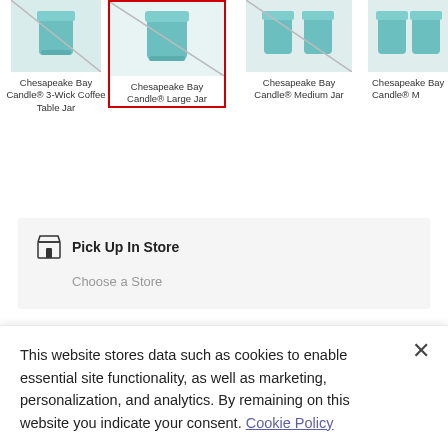[Figure (screenshot): Product selection row showing Chesapeake Bay Candle product thumbnails. Four products visible: Chesapeake Bay Candle® 3-Wick Coffee Table Jar, Chesapeake Bay Candle® Large Jar (selected, red border), Chesapeake Bay Candle® Medium Jar, and partially visible Chesapeake Bay Candle® M...]
Chesapeake Bay Candle® 3-Wick Coffee Table Jar
Chesapeake Bay Candle® Large Jar
Chesapeake Bay Candle® Medium Jar
Chesapeake Bay Candle® M
Pick Up In Store
Choose a Store
Quantity:
This website stores data such as cookies to enable essential site functionality, as well as marketing, personalization, and analytics. By remaining on this website you indicate your consent. Cookie Policy